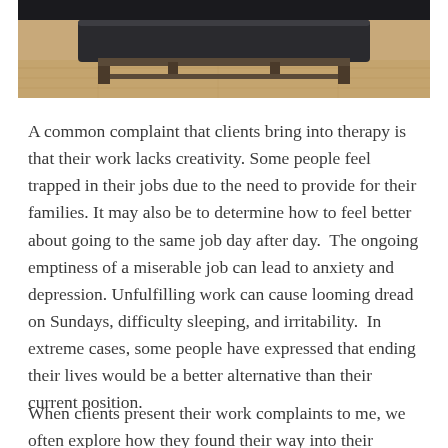[Figure (photo): Partial photo of a couch or chaise lounge with dark upholstery on a wooden floor, cropped at top of page]
A common complaint that clients bring into therapy is that their work lacks creativity. Some people feel trapped in their jobs due to the need to provide for their families. It may also be to determine how to feel better about going to the same job day after day.  The ongoing emptiness of a miserable job can lead to anxiety and depression. Unfulfilling work can cause looming dread on Sundays, difficulty sleeping, and irritability.  In extreme cases, some people have expressed that ending their lives would be a better alternative than their current position.
When clients present their work complaints to me, we often explore how they found their way into their current